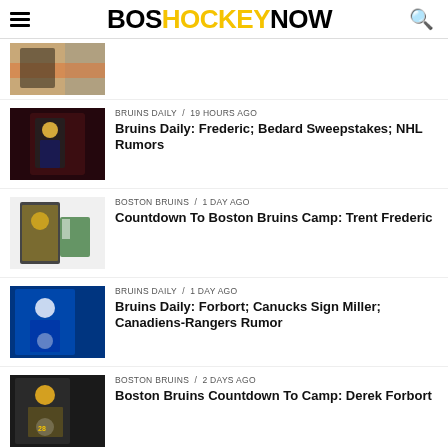BOS HOCKEY NOW
[Figure (photo): Hockey player image partially visible at top]
BRUINS DAILY / 19 hours ago
Bruins Daily: Frederic; Bedard Sweepstakes; NHL Rumors
[Figure (photo): Hockey player in dark jersey on ice]
BOSTON BRUINS / 1 day ago
Countdown To Boston Bruins Camp: Trent Frederic
[Figure (photo): Hockey player in Bruins jersey]
BRUINS DAILY / 1 day ago
Bruins Daily: Forbort; Canucks Sign Miller; Canadiens-Rangers Rumor
[Figure (photo): Hockey player in blue Canucks jersey]
BOSTON BRUINS / 2 days ago
Boston Bruins Countdown To Camp: Derek Forbort
[Figure (photo): Hockey player in Bruins jersey]